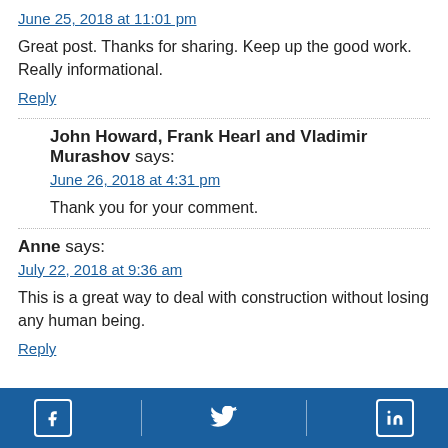June 25, 2018 at 11:01 pm
Great post. Thanks for sharing. Keep up the good work. Really informational.
Reply
John Howard, Frank Hearl and Vladimir Murashov says:
June 26, 2018 at 4:31 pm
Thank you for your comment.
Anne says:
July 22, 2018 at 9:36 am
This is a great way to deal with construction without losing any human being.
Reply
[Figure (infographic): Blue footer bar with Facebook, Twitter, and LinkedIn social media icons]